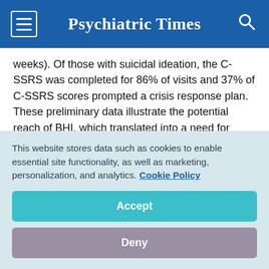Psychiatric Times
weeks). Of those with suicidal ideation, the C-SSRS was completed for 86% of visits and 37% of C-SSRS scores prompted a crisis response plan. These preliminary data illustrate the potential reach of BHI, which translated into a need for crisis response planning in 24 per 10,000 screening visits (107 of 45,235 visits with PHQ-2 completed).
Barrier facilitator and it st...
This website stores data such as cookies to enable essential site functionality, as well as marketing, personalization, and analytics. Cookie Policy
Accept
Deny